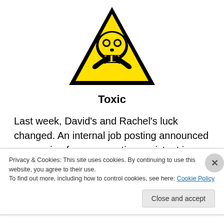[Figure (illustration): Yellow triangular warning sign with black border containing a skull and crossbones symbol]
Toxic
Last week, David’s and Rachel’s luck changed. An internal job posting announced an opening for an executive assistant in another department. Rachel immediately submits her resume. The HR manager tells Rachel that
Privacy & Cookies: This site uses cookies. By continuing to use this website, you agree to their use.
To find out more, including how to control cookies, see here: Cookie Policy
Close and accept